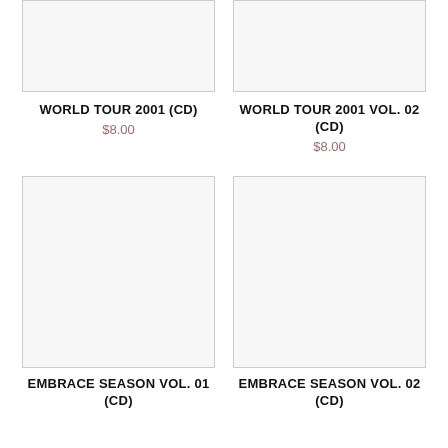[Figure (photo): White/blank product image placeholder for World Tour 2001 CD, top-left]
[Figure (photo): White/blank product image placeholder for World Tour 2001 Vol. 02 CD, top-right]
WORLD TOUR 2001 (CD)
$8.00
WORLD TOUR 2001 VOL. 02 (CD)
$8.00
[Figure (photo): White/blank product image placeholder, bottom-left]
[Figure (photo): White/blank product image placeholder, bottom-right]
EMBRACE SEASON VOL. 01 (CD)
EMBRACE SEASON VOL. 02 (CD)